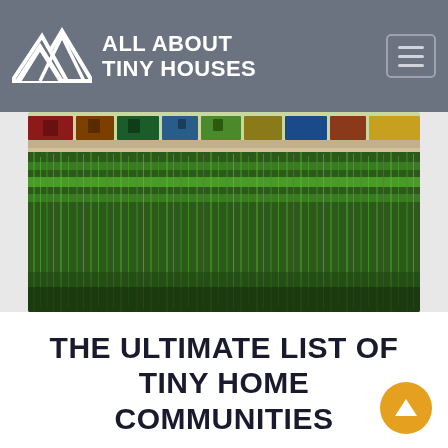ALL ABOUT TINY HOUSES
[Figure (photo): Aerial/ground-level view of a green grassy lawn with colorful tiny houses/shipping containers visible in the background]
THE ULTIMATE LIST OF TINY HOME COMMUNITIES
December 13, 2019 | 0 Comment